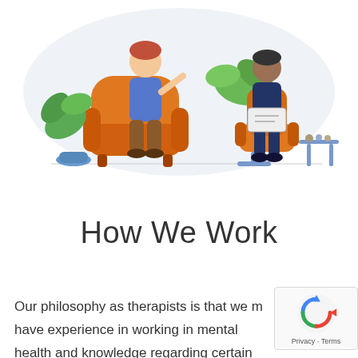[Figure (illustration): A therapy session illustration showing two people: one seated in a large orange armchair (the client, a woman in blue top with reddish hair, gesturing while talking) and one seated in an orange office chair (the therapist, a person in dark blue outfit holding a clipboard/book). Green tropical leaves and a small side table with items are visible in the background. Set against a soft blue-grey cloud-like background shape.]
How We Work
Our philosophy as therapists is that we m have experience in working in mental health and knowledge regarding certain